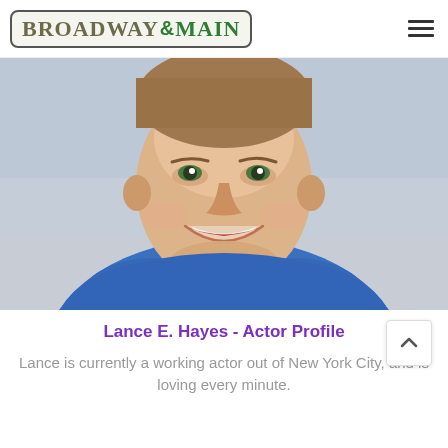[Figure (logo): Broadway & Main logo in a rounded rectangle border. 'BROADWAY' in serif bold tan/olive letters, '&' in bold green, 'MAIN' in bold green serif letters.]
[Figure (photo): Headshot of a smiling young man with short brown hair wearing a blue sleeveless shirt, photographed against a blurred gray outdoor background. Close-up cropped from mid-chest upward.]
Lance E. Hayes - Actor Profile
Lance is currently a working actor out of New York City, and is loving every minute.